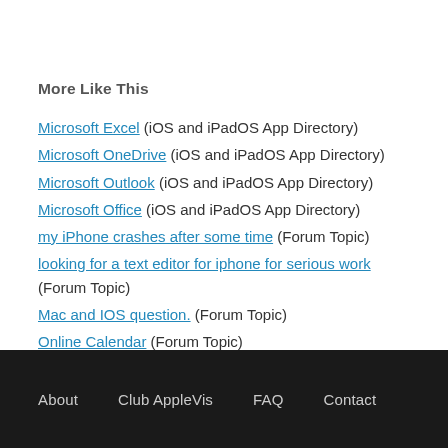More Like This
Microsoft Excel (iOS and iPadOS App Directory)
Microsoft OneDrive (iOS and iPadOS App Directory)
Microsoft Outlook (iOS and iPadOS App Directory)
Microsoft Office (iOS and iPadOS App Directory)
my iPhone crashes after some time (Forum Topic)
looking for a text editor for iphone for serious work (Forum Topic)
Mac and IOS question. (Forum Topic)
Online Calendar (Forum Topic)
About   Club AppleVis   FAQ   Contact